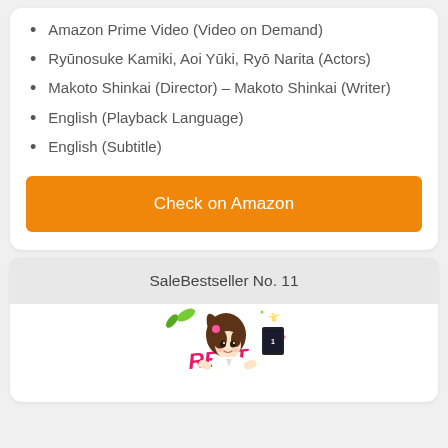Amazon Prime Video (Video on Demand)
Ryūnosuke Kamiki, Aoi Yūki, Ryō Narita (Actors)
Makoto Shinkai (Director) – Makoto Shinkai (Writer)
English (Playback Language)
English (Subtitle)
Check on Amazon
SaleBestseller No. 11
[Figure (illustration): Anime girl manga book cover with 'RENT' text visible, partial view]